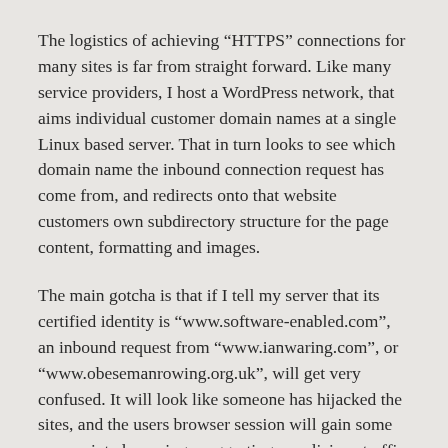The logistics of achieving “HTTPS” connections for many sites is far from straight forward. Like many service providers, I host a WordPress network, that aims individual customer domain names at a single Linux based server. That in turn looks to see which domain name the inbound connection request has come from, and redirects onto that website customers own subdirectory structure for the page content, formatting and images.
The main gotcha is that if I tell my server that its certified identity is “www.software-enabled.com”, an inbound request from “www.ianwaring.com”, or “www.obesemanrowing.org.uk”, will get very confused. It will look like someone has hijacked the sites, and the users browser session will gain some very pointed warnings suggesting a malicious traffic subversion attempt.